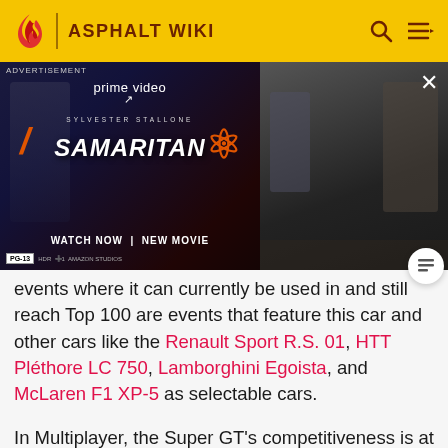ASPHALT WIKI
[Figure (screenshot): Amazon Prime Video advertisement for the movie Samaritan starring Sylvester Stallone. Left side shows dark blue/red movie poster with text 'SYLVESTER STALLONE SAMARITAN WATCH NOW | NEW MOVIE' and Prime Video logo. Right side shows a still from the film with two people.]
events where it can currently be used in and still reach Top 100 are events that feature this car and other cars like the Renault Sport R.S. 01, HTT Pléthore LC 750, Lamborghini Egoista, and McLaren F1 XP-5 as selectable cars.
In Multiplayer, the Super GT's competitiveness is at best placed between the McLaren 675LT and W Motors Fenyr Supersport. A good MP-friendly upgrade configuration for this car would be 0501 5050, which sets the rank to S1669